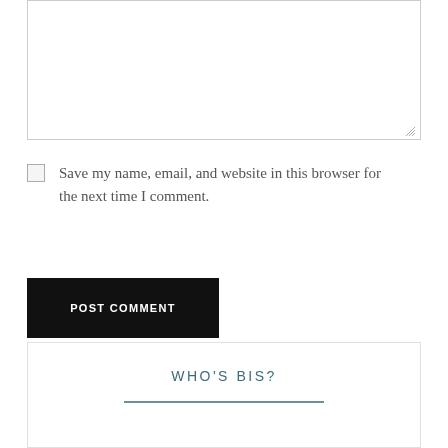[Figure (screenshot): A comment form textarea box with a resize handle in the bottom-right corner]
Save my name, email, and website in this browser for the next time I comment.
POST COMMENT
WHO'S BIS?